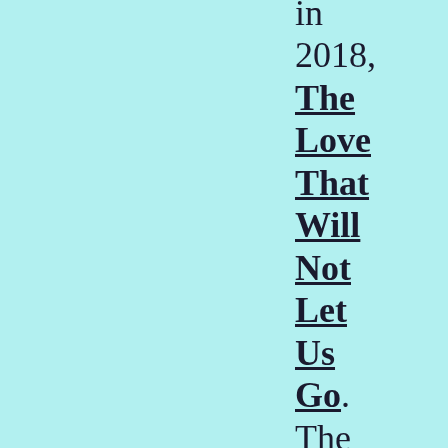in 2018, The Love That Will Not Let Us Go. The love of God for each one of us, and all of humanity is so strong, so fierce, so